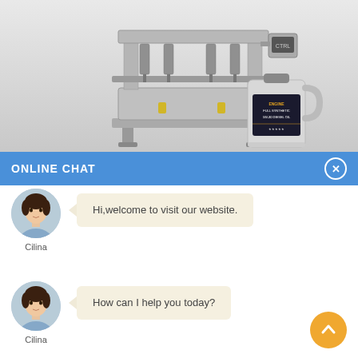[Figure (photo): Industrial filling machine (multi-head liquid filler) on a gray gradient background, with a motor oil container/jug shown to the right of the machine.]
ONLINE CHAT
[Figure (photo): Avatar of a woman named Cilina in a light blue shirt, circular crop.]
Hi,welcome to visit our website.
Cilina
[Figure (photo): Avatar of a woman named Cilina in a light blue shirt, circular crop.]
How can I help you today?
Cilina